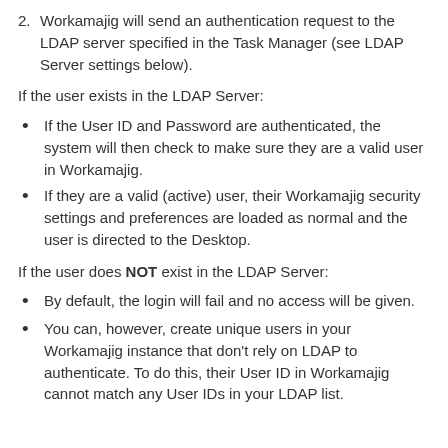2. Workamajig will send an authentication request to the LDAP server specified in the Task Manager (see LDAP Server settings below).
If the user exists in the LDAP Server:
If the User ID and Password are authenticated, the system will then check to make sure they are a valid user in Workamajig.
If they are a valid (active) user, their Workamajig security settings and preferences are loaded as normal and the user is directed to the Desktop.
If the user does NOT exist in the LDAP Server:
By default, the login will fail and no access will be given.
You can, however, create unique users in your Workamajig instance that don't rely on LDAP to authenticate. To do this, their User ID in Workamajig cannot match any User IDs in your LDAP list.